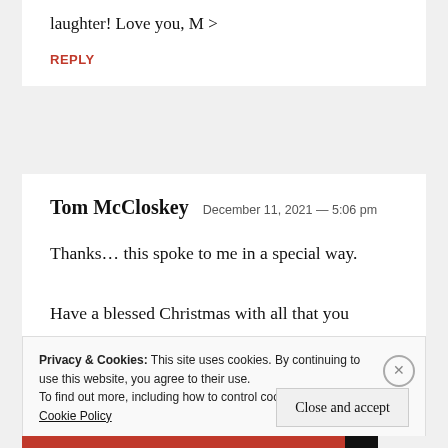laughter! Love you, M >
REPLY
Tom McCloskey  December 11, 2021 — 5:06 pm
Thanks… this spoke to me in a special way. Have a blessed Christmas with all that you love. SHALOM, Tom Mc
Privacy & Cookies: This site uses cookies. By continuing to use this website, you agree to their use. To find out more, including how to control cookies, see here: Cookie Policy
Close and accept